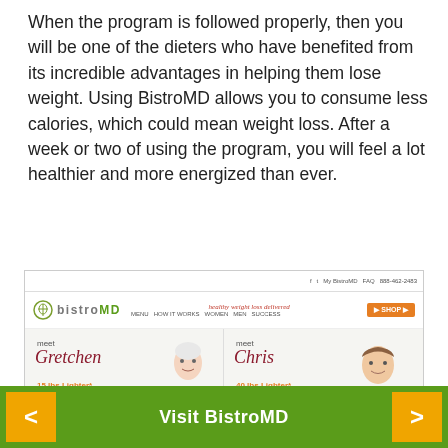When the program is followed properly, then you will be one of the dieters who have benefited from its incredible advantages in helping them lose weight. Using BistroMD allows you to consume less calories, which could mean weight loss. After a week or two of using the program, you will feel a lot healthier and more energized than ever.
[Figure (screenshot): BistroMD website screenshot showing navigation bar with logo, tagline 'healthy weight loss delivered', menu items (MENU, HOW IT WORKS, WOMEN, MEN, SUCCESS), an orange SHOP button, and a success stories grid featuring: meet Gretchen 15 lbs Lighter*, meet Chris 40 lbs Lighter*, meet Lisette 32 lbs Lighter*, meet Erin 25 lbs Lighter*]
Visit BistroMD